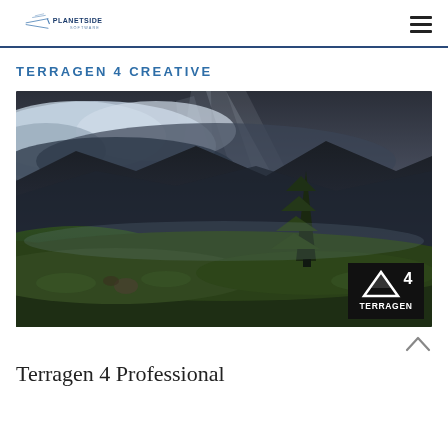Planetside Software — navigation header with logo and hamburger menu
TERRAGEN 4 CREATIVE
[Figure (photo): Dramatic landscape photograph showing misty mountains with crepuscular rays of sunlight breaking through dark storm clouds, a tall conifer tree in the mid-ground on a green mossy hillside, with a Terragen 4 logo badge in the lower right corner.]
Terragen 4 Professional